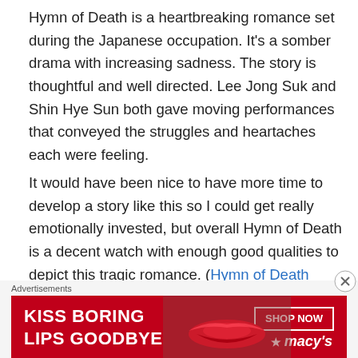Hymn of Death is a heartbreaking romance set during the Japanese occupation. It's a somber drama with increasing sadness. The story is thoughtful and well directed. Lee Jong Suk and Shin Hye Sun both gave moving performances that conveyed the struggles and heartaches each were feeling.
It would have been nice to have more time to develop a story like this so I could get really emotionally invested, but overall Hymn of Death is a decent watch with enough good qualities to depict this tragic romance. (Hymn of Death Review)
[Figure (photo): Partial image of a woman's face with warm orange/gold bokeh lighting in the background, partially visible at the bottom of the page.]
Advertisements
[Figure (photo): Macy's advertisement banner with red background. Text reads 'KISS BORING LIPS GOODBYE' on the left, a SHOP NOW button with Macy's star logo on the right, and an image of lips/face in the center.]